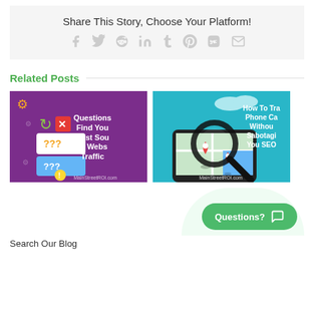Share This Story, Choose Your Platform!
[Figure (infographic): Social share icons: Facebook, Twitter, Reddit, LinkedIn, Tumblr, Pinterest, VK, Email]
Related Posts
[Figure (illustration): Purple thumbnail with question marks and text: Questions Find Your Best Source of Website Traffic - MainStreetROI.com]
[Figure (illustration): Cyan thumbnail with map pin icons and text: How To Track Phone Calls Without Sabotaging Your SEO - MainStreetROI.com]
Questions?
Search Our Blog